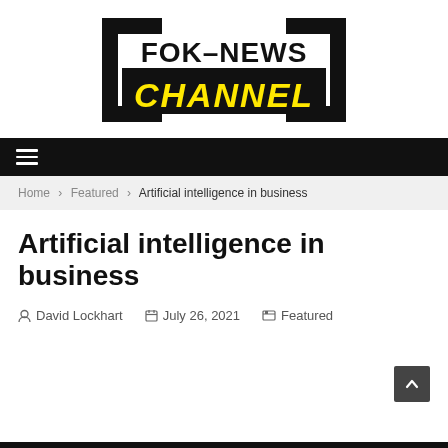[Figure (logo): FOK-NEWS CHANNEL logo with black bracket frame and yellow CHANNEL text on black background]
Navigation bar with hamburger menu icon
Home > Featured > Artificial intelligence in business
Artificial intelligence in business
David Lockhart   July 26, 2021   Featured